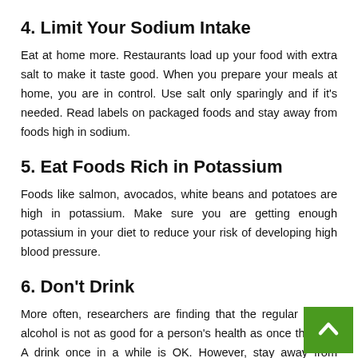4. Limit Your Sodium Intake
Eat at home more. Restaurants load up your food with extra salt to make it taste good. When you prepare your meals at home, you are in control. Use salt only sparingly and if it's needed. Read labels on packaged foods and stay away from foods high in sodium.
5. Eat Foods Rich in Potassium
Foods like salmon, avocados, white beans and potatoes are high in potassium. Make sure you are getting enough potassium in your diet to reduce your risk of developing high blood pressure.
6. Don't Drink
More often, researchers are finding that the regular use of alcohol is not as good for a person's health as once thought. A drink once in a while is OK. However, stay away from drinking